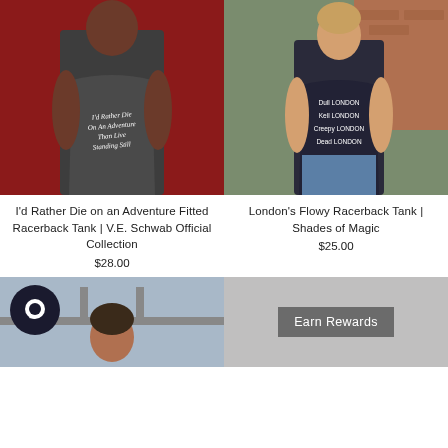[Figure (photo): Woman wearing a dark grey racerback tank top with cursive text 'I'd Rather Die On An Adventure Than Live Standing Still', posed against a red background]
[Figure (photo): Woman wearing a dark navy racerback tank top with text 'Dull London, Kell London, Creepy London, Dead London', standing outdoors near brick wall and greenery]
I'd Rather Die on an Adventure Fitted Racerback Tank | V.E. Schwab Official Collection
$28.00
London's Flowy Racerback Tank | Shades of Magic
$25.00
[Figure (photo): Partial photo of a woman outdoors with a bridge in the background, with a dark circular chat bubble icon overlay]
[Figure (photo): Grey panel with an 'Earn Rewards' button]